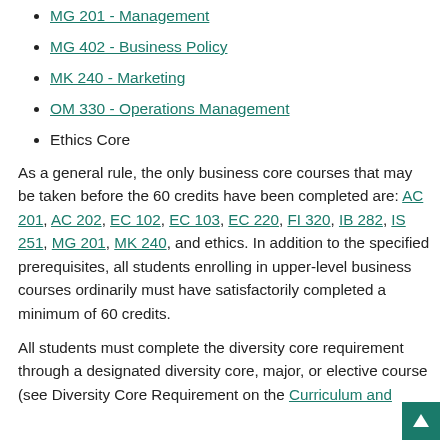MG 201 - Management
MG 402 - Business Policy
MK 240 - Marketing
OM 330 - Operations Management
Ethics Core
As a general rule, the only business core courses that may be taken before the 60 credits have been completed are: AC 201, AC 202, EC 102, EC 103, EC 220, FI 320, IB 282, IS 251, MG 201, MK 240, and ethics. In addition to the specified prerequisites, all students enrolling in upper-level business courses ordinarily must have satisfactorily completed a minimum of 60 credits.
All students must complete the diversity core requirement through a designated diversity core, major, or elective course (see Diversity Core Requirement on the Curriculum and